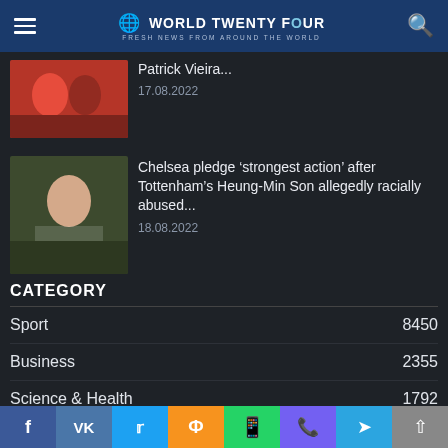World Twenty Four — Fresh news from around the world
Patrick Vieira... 17.08.2022
Chelsea pledge 'strongest action' after Tottenham's Heung-Min Son allegedly racially abused... 18.08.2022
CATEGORY
Sport 8450
Business 2355
Science & Health 1792
Politics 1361
Culture 634